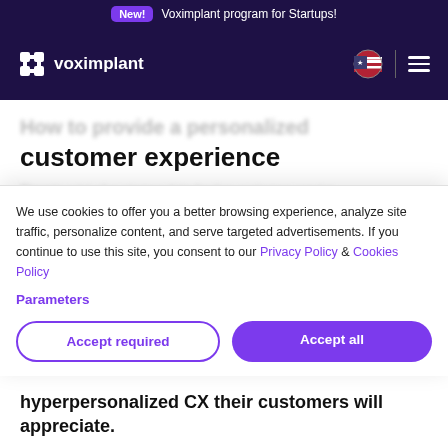New! Voximplant program for Startups!
[Figure (logo): Voximplant logo with puzzle piece icon and wordmark on dark purple navbar, with US flag and hamburger menu on right]
How to provide a personalized customer experience
There's a lot of customer data for live customer service...
We use cookies to offer you a better browsing experience, analyze site traffic, personalize content, and serve targeted advertisements. If you continue to use this site, you consent to our Privacy Policy & Cookies Policy
Parameters
Accept required
Accept all
hyperpersonalized CX their customers will appreciate.